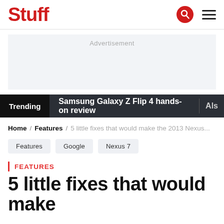Stuff
[Figure (other): Advertisement placeholder box]
Trending   Samsung Galaxy Z Flip 4 hands-on review   Als
Home / Features / 5 little fixes that would make the 2013 Nexus...
Features
Google
Nexus 7
FEATURES
5 little fixes that would make